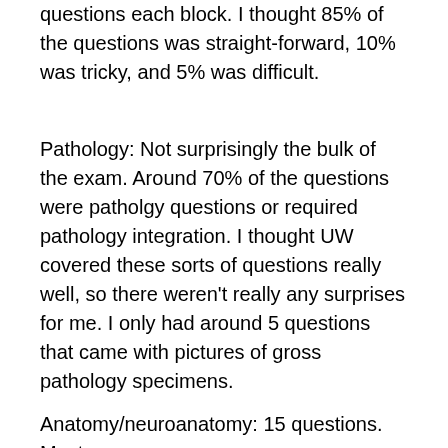questions each block. I thought 85% of the questions was straight-forward, 10% was tricky, and 5% was difficult.
Pathology: Not surprisingly the bulk of the exam. Around 70% of the questions were patholgy questions or required pathology integration. I thought UW covered these sorts of questions really well, so there weren't really any surprises for me. I only had around 5 questions that came with pictures of gross pathology specimens.
Anatomy/neuroanatomy: 15 questions. Most